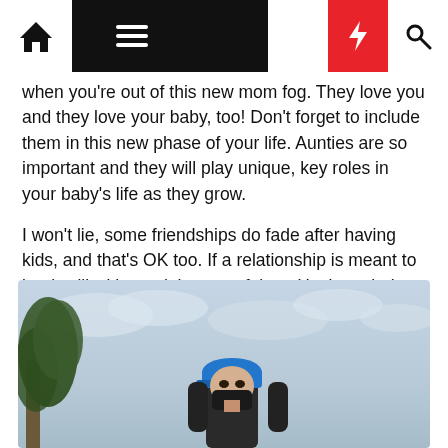[Navigation bar with home, menu, moon, lightning, search icons]
when you're out of this new mom fog. They love you and they love your baby, too! Don't forget to include them in this new phase of your life. Aunties are so important and they will play unique, key roles in your baby's life as they grow.
I won't lie, some friendships do fade after having kids, and that's OK too. If a relationship is meant to be, it will withstand the test of time. Having a baby just naturally strengthens some friendships and causes others to fade. It's just part of life.
[Figure (photo): Outdoor photo with light blue overcast sky, tree on the left, and a person wearing a blue cap and dark mask/face covering in the center foreground.]